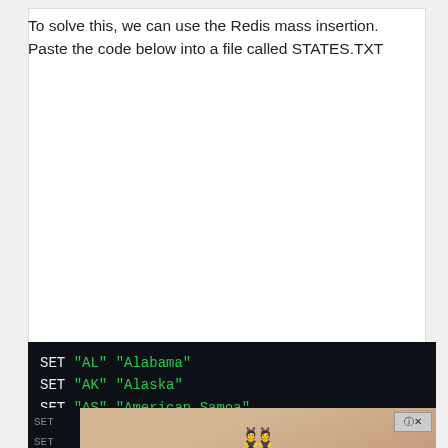To solve this, we can use the Redis mass insertion. Paste the code below into a file called STATES.TXT
[Figure (screenshot): Dark-themed code block showing Redis SET commands: SET "AL" "Alabama", SET "AK" "Alaska", SET "AS" "American Samoa", SET "AZ" "Arizona", followed by partially visible SET lines obscured by an advertisement overlay.]
[Figure (other): Advertisement overlay showing 'Hold and Move' with blue cartoon figure icons and a close button in the top-right corner.]